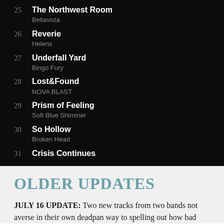25 The Northwest Room — Bellavista
26 Reverie — Helens
27 Underfall Yard — Bingo Fury
28 Lost&Found — NOVA BLAST
29 Prism of Feeling — Soft Blue Shimmer
30 So Hollow — Broken Head
31 Crisis Continues
OLDER UPDATES
JULY 16 UPDATE:  Two new tracks from two bands not averse in their own deadpan way to spelling out how bad